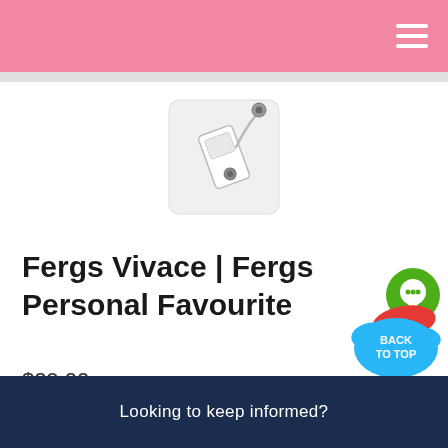[Figure (photo): Product photo of Fergs Vivace earphones/audio device, white with cable, on white background]
Fergs Vivace | Fergs Personal Favourite
$29.00
Size
500g
Style
Looking to keep informed?